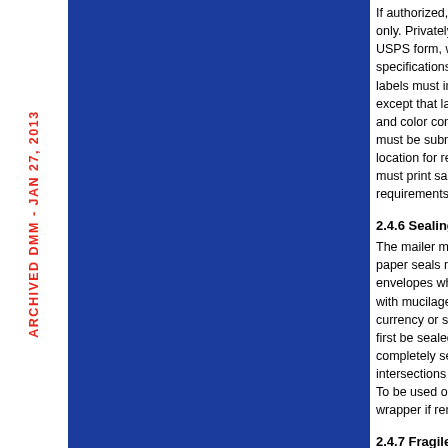[Figure (other): Blue sidebar/banner with ARCHIVED DMM - JAN 27, 2013 text rotated vertically in red]
If authorized, a mailer may only. Privately printed labe USPS form, with a barcode specifications in Publicatio labels must include an Int except that labels must re and color consistent with must be submitted to the location for review by the must print sample labels w requirements in Publicatio
2.4.6 Sealing
The mailer must securely paper seals must not be p envelopes where the post with mucilage or glue or w currency or securities may first be sealed securely wi completely sealed and tha intersections of the flaps r To be used on Registered wrapper if removed and m
2.4.7 Fragile Item
The mailer must tell the U describe the interior packi packed as specified in 60 packed to withstand norm